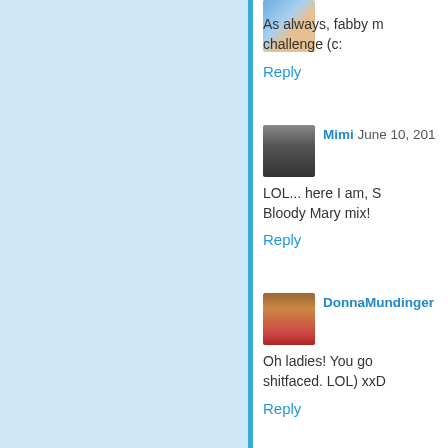As always, fabby m challenge (c:
Reply
Mimi June 10, 201
LOL... here I am, S Bloody Mary mix!
Reply
DonnaMundinger
Oh ladies! You go shitfaced. LOL) xxD
Reply